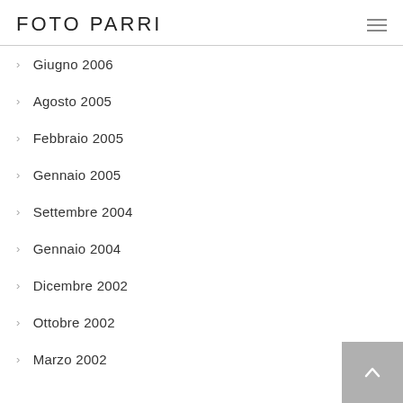FOTO PARRI
Giugno 2006
Agosto 2005
Febbraio 2005
Gennaio 2005
Settembre 2004
Gennaio 2004
Dicembre 2002
Ottobre 2002
Marzo 2002